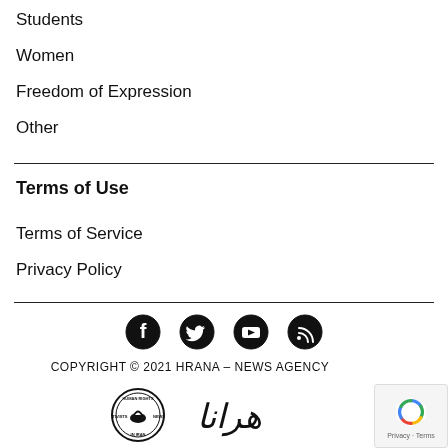Students
Women
Freedom of Expression
Other
Terms of Use
Terms of Service
Privacy Policy
COPYRIGHT © 2021 HRANA – NEWS AGENCY
[Figure (logo): Social media icons: Facebook, Twitter, YouTube, RSS feed]
[Figure (logo): HRANA news agency circular logo and Arabic/Persian logo text]